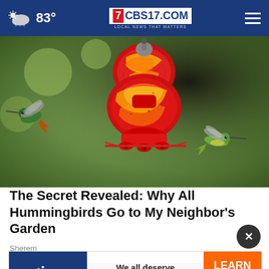83° CBS17.COM LOCAL NEWS THAT MATTERS
[Figure (photo): A colorful red, yellow, and green swirled glass hummingbird feeder with two hummingbirds hovering nearby — one on the left side and one on the lower right.]
The Secret Revealed: Why All Hummingbirds Go to My Neighbor's Garden
Sherem
[Figure (screenshot): Advertisement banner for Ting: dark blue left section with 'ting' logo, center with text 'We all deserve a perfect match' with heart icon, and orange right section with 'LEARN MORE' button.]